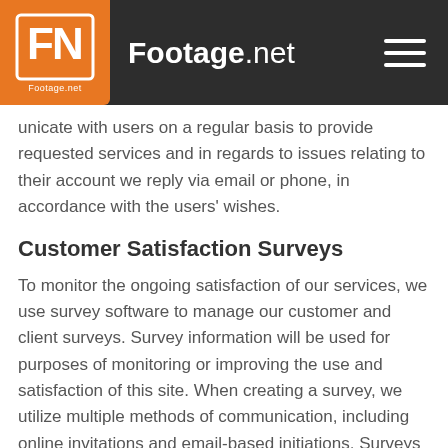Footage.net
unicate with users on a regular basis to provide requested services and in regards to issues relating to their account we reply via email or phone, in accordance with the users' wishes.
Customer Satisfaction Surveys
To monitor the ongoing satisfaction of our services, we use survey software to manage our customer and client surveys. Survey information will be used for purposes of monitoring or improving the use and satisfaction of this site. When creating a survey, we utilize multiple methods of communication, including online invitations and email-based initiations. Surveys are completely voluntary, and under no circumstance is a user required to respond to an invitation. When a survey invitation is emailed, we